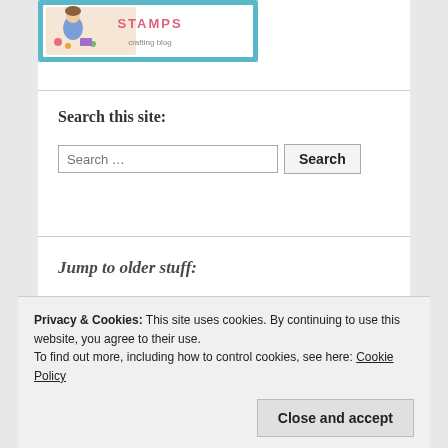[Figure (illustration): Blog logo image showing a cartoon person crafting with the text 'STAMPS' visible, surrounded by a teal/blue border frame]
Search this site:
Search …
Jump to older stuff:
Privacy & Cookies: This site uses cookies. By continuing to use this website, you agree to their use.
To find out more, including how to control cookies, see here: Cookie Policy
Close and accept
More Inspiration: